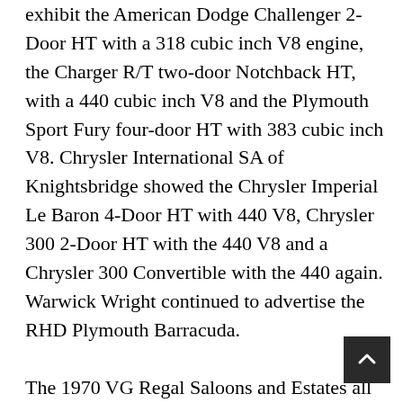exhibit the American Dodge Challenger 2-Door HT with a 318 cubic inch V8 engine, the Charger R/T two-door Notchback HT, with a 440 cubic inch V8 and the Plymouth Sport Fury four-door HT with 383 cubic inch V8. Chrysler International SA of Knightsbridge showed the Chrysler Imperial Le Baron 4-Door HT with 440 V8, Chrysler 300 2-Door HT with the 440 V8 and a Chrysler 300 Convertible with the 440 again. Warwick Wright continued to advertise the RHD Plymouth Barracuda.
The 1970 VG Regal Saloons and Estates all Automatics and with Australian 4473cc